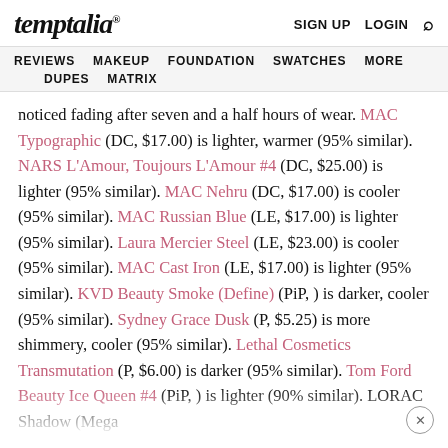temptalia® | SIGN UP | LOGIN | Search
REVIEWS | MAKEUP | FOUNDATION | SWATCHES | MORE | DUPES | MATRIX
noticed fading after seven and a half hours of wear. MAC Typographic (DC, $17.00) is lighter, warmer (95% similar). NARS L'Amour, Toujours L'Amour #4 (DC, $25.00) is lighter (95% similar). MAC Nehru (DC, $17.00) is cooler (95% similar). MAC Russian Blue (LE, $17.00) is lighter (95% similar). Laura Mercier Steel (LE, $23.00) is cooler (95% similar). MAC Cast Iron (LE, $17.00) is lighter (95% similar). KVD Beauty Smoke (Define) (PiP, ) is darker, cooler (95% similar). Sydney Grace Dusk (P, $5.25) is more shimmery, cooler (95% similar). Lethal Cosmetics Transmutation (P, $6.00) is darker (95% similar). Tom Ford Beauty Ice Queen #4 (PiP, ) is lighter (90% similar). LORAC Shadow (Mega ...